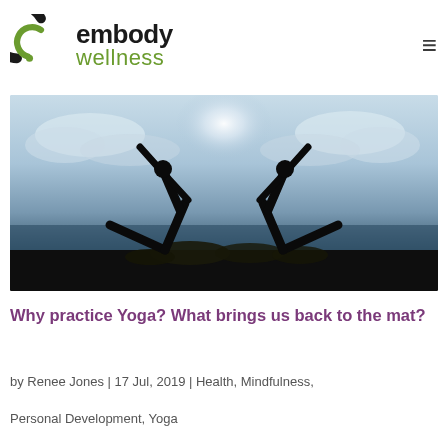[Figure (logo): Embody Wellness logo with green spiral 'e' icon and text 'embody wellness']
[Figure (photo): Two silhouetted yoga practitioners in mirrored warrior/triangle pose against a dramatic cloudy sky backdrop, appears to be at sunset or sunrise near water]
Why practice Yoga? What brings us back to the mat?
by Renee Jones | 17 Jul, 2019 | Health, Mindfulness, Personal Development, Yoga